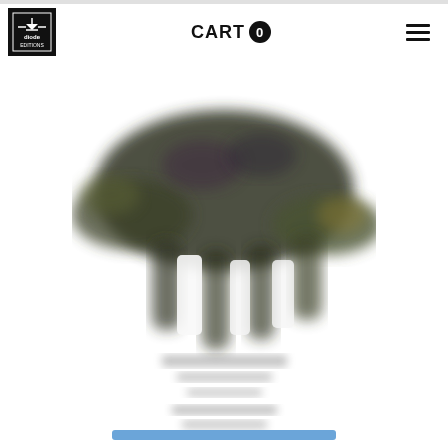CART 0  [Diode Editions logo] [hamburger menu]
[Figure (photo): A blurred book cover showing what appears to be a large dark anteater or similar animal on a white background, with text below the animal image. A blue button is partially visible at the bottom of the cover.]